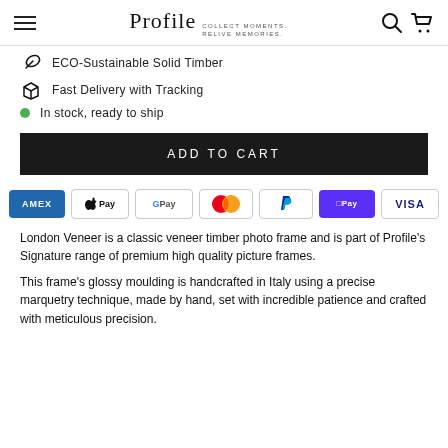Profile COLLECT MOMENTS. RELIVE MEMORIES.
ECO-Sustainable Solid Timber
Fast Delivery with Tracking
In stock, ready to ship
ADD TO CART
[Figure (other): Payment method icons: American Express, Apple Pay, Google Pay, Mastercard, PayPal, Shop Pay, Visa]
London Veneer is a classic veneer timber photo frame and is part of Profile's Signature range of premium high quality picture frames.
This frame's glossy moulding is handcrafted in Italy using a precise marquetry technique, made by hand, set with incredible patience and crafted with meticulous precision.